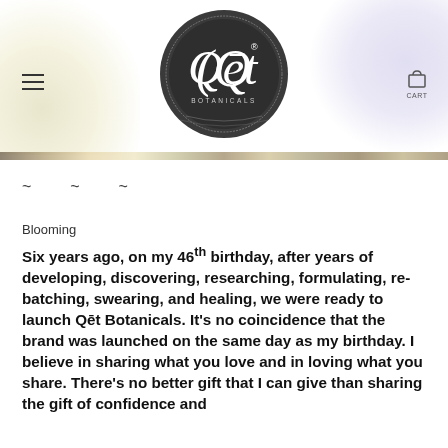[Figure (logo): Qet Botanicals circular logo on dark background with ornate border]
~ ~ ~
Blooming
Six years ago, on my 46th birthday, after years of developing, discovering, researching, formulating, re-batching, swearing, and healing, we were ready to launch Qēt Botanicals. It's no coincidence that the brand was launched on the same day as my birthday. I believe in sharing what you love and in loving what you share. There's no better gift that I can give than sharing the gift of confidence and